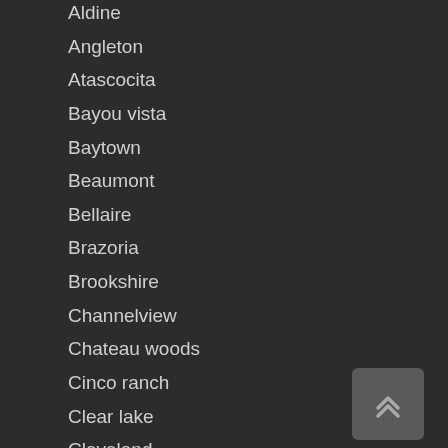Aldine
Angleton
Atascocita
Bayou vista
Baytown
Beaumont
Bellaire
Brazoria
Brookshire
Channelview
Chateau woods
Cinco ranch
Clear lake
Cleveland
Cloverleaf
Clute
Conroe
Cypress
Deer park
Dickinson